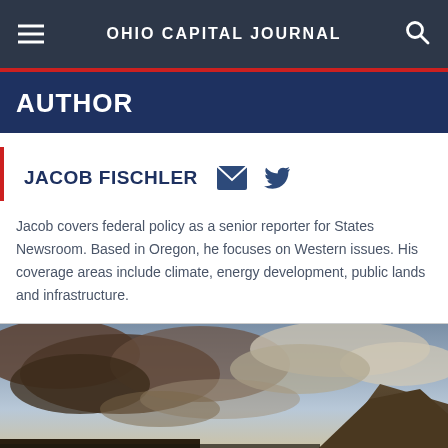OHIO CAPITAL JOURNAL
AUTHOR
JACOB FISCHLER
Jacob covers federal policy as a senior reporter for States Newsroom. Based in Oregon, he focuses on Western issues. His coverage areas include climate, energy development, public lands and infrastructure.
[Figure (photo): Landscape photo showing dramatic cloudy sky over rocky terrain or hillside, partially cropped at the bottom of the page.]